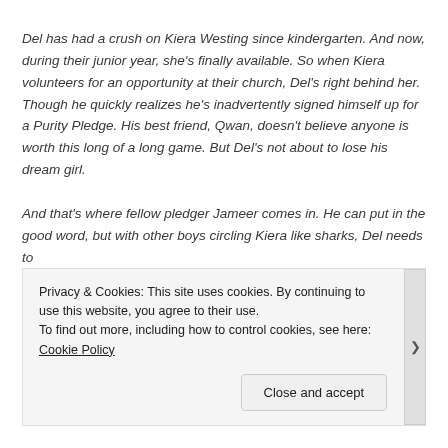Del has had a crush on Kiera Westing since kindergarten. And now, during their junior year, she's finally available. So when Kiera volunteers for an opportunity at their church, Del's right behind her. Though he quickly realizes he's inadvertently signed himself up for a Purity Pledge. His best friend, Qwan, doesn't believe anyone is worth this long of a long game. But Del's not about to lose his dream girl.

And that's where fellow pledger Jameer comes in. He can put in the good word, but with other boys circling Kiera like sharks, Del needs to
Privacy & Cookies: This site uses cookies. By continuing to use this website, you agree to their use.
To find out more, including how to control cookies, see here: Cookie Policy